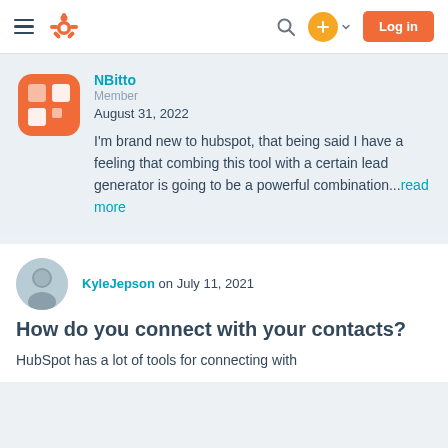HubSpot Community navigation bar with logo, search, plus button, and Log in button
NBitto
Member
August 31, 2022
I'm brand new to hubspot, that being said I have a feeling that combing this tool with a certain lead generator is going to be a powerful combination...read more
KyleJepson on July 11, 2021
How do you connect with your contacts?
HubSpot has a lot of tools for connecting with